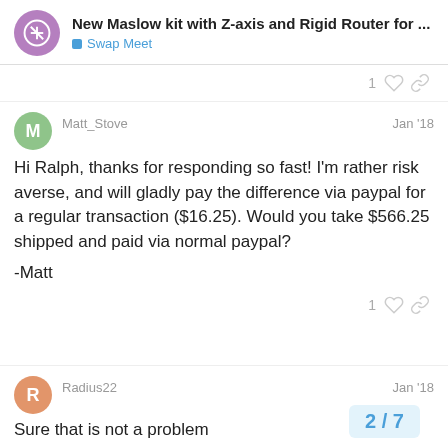New Maslow kit with Z-axis and Rigid Router for ... — Swap Meet
1 [like] [link]
Matt_Stove  Jan '18
Hi Ralph, thanks for responding so fast! I'm rather risk averse, and will gladly pay the difference via paypal for a regular transaction ($16.25). Would you take $566.25 shipped and paid via normal paypal?

-Matt
1 [like] [link]
Radius22  Jan '18
Sure that is not a problem
2 / 7